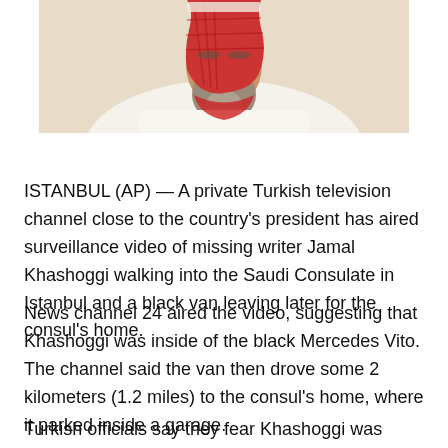[Figure (photo): Partial photograph of a man wearing white traditional Arab dress (thobe) and a red and white patterned keffiyeh/headscarf. Only the lower portion of the face and upper body is visible.]
ISTANBUL (AP) — A private Turkish television channel close to the country's president has aired surveillance video of missing writer Jamal Khashoggi walking into the Saudi Consulate in Istanbul and a black van leaving later for the consul's home.
News channel 24 aired the video, suggesting that Khashoggi was inside of the black Mercedes Vito. The channel said the van then drove some 2 kilometers (1.2 miles) to the consul's home, where it parked inside a garage.
Turkish officials say they fear Khashoggi was killed at the